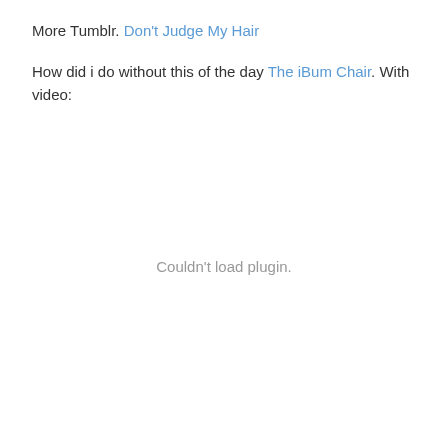More Tumblr. Don't Judge My Hair
How did i do without this of the day The iBum Chair. With video:
Couldn't load plugin.